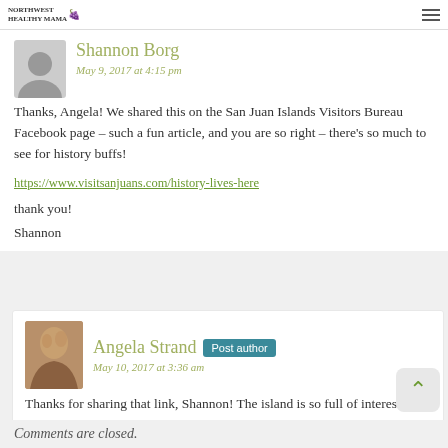Northwest Healthy Mama
of History on San Juan Island
Shannon Borg
May 9, 2017 at 4:15 pm
Thanks, Angela! We shared this on the San Juan Islands Visitors Bureau Facebook page – such a fun article, and you are so right – there's so much to see for history buffs!
https://www.visitsanjuans.com/history-lives-here
thank you!
Shannon
Angela Strand
May 10, 2017 at 3:36 am
Thanks for sharing that link, Shannon! The island is so full of interesting history!
Comments are closed.